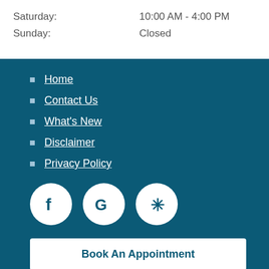Saturday:   10:00 AM - 4:00 PM
Sunday:   Closed
Home
Contact Us
What's New
Disclaimer
Privacy Policy
[Figure (logo): Facebook, Google, and Yelp social media icon circles in white on teal background]
Book An Appointment